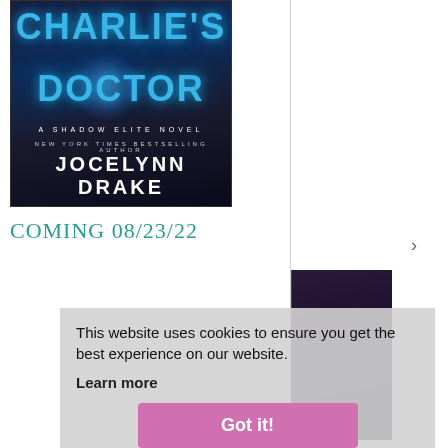[Figure (illustration): Book cover: Charlie's Doctor - A Shadow Elite Novel by Jocelynn Drake. Dark blue/navy background with glowing blue title text and author name in white.]
COMING 08/23/22
[Figure (illustration): Book cover: Patricia Briggs - partially obscured by cookie consent overlay. Dark teal background with author name in gold letters, figure of a woman.]
This website uses cookies to ensure you get the best experience on our website. Learn more
Got it!